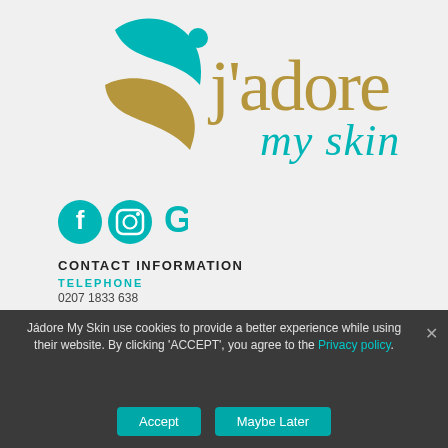[Figure (logo): Jadore My Skin logo: teal and gold leaf/bird graphic with text 'j'adore' in gold and 'my skin' in teal cursive]
[Figure (infographic): Social media icons: Facebook (teal circle with f), Instagram (teal circle with camera), Google (teal G letter)]
CONTACT INFORMATION
TELEPHONE
0207 1833 638
Jádore My Skin use cookies to provide a better experience while using their website. By clicking 'ACCEPT', you agree to the Privacy policy.
Accept
Maybe Later